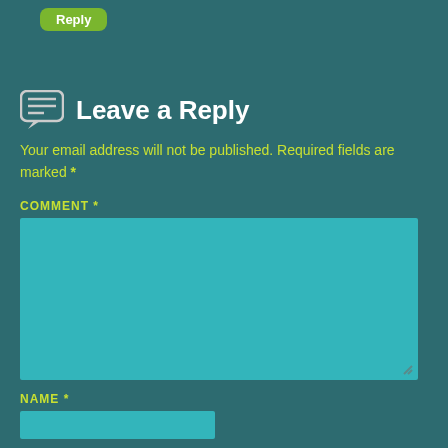[Figure (other): Green rounded Reply button at top left]
Leave a Reply
Your email address will not be published. Required fields are marked *
COMMENT *
[Figure (other): Teal comment text area input box]
NAME *
[Figure (other): Teal name input field]